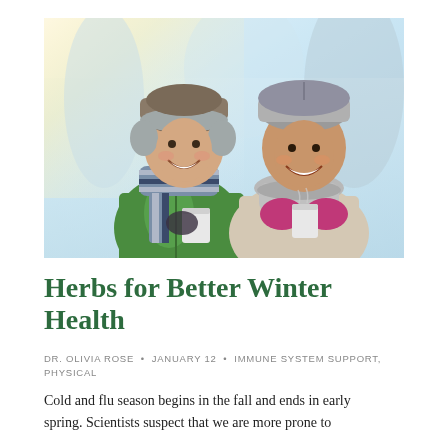[Figure (photo): A smiling couple outdoors in winter, wearing hats, scarves, and gloves, holding warm cups. Snowy background with trees.]
Herbs for Better Winter Health
DR. OLIVIA ROSE  •  JANUARY 12  •  IMMUNE SYSTEM SUPPORT, PHYSICAL
Cold and flu season begins in the fall and ends in early spring. Scientists suspect that we are more prone to